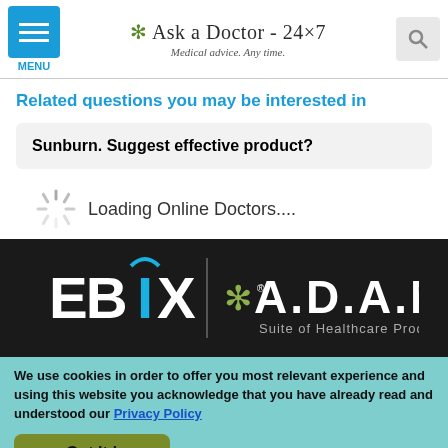Ask a Doctor - 24x7 | Medical advice. Any time.
Related questions you may be interested in
Sunburn. Suggest effective product?
Loading Online Doctors....
[Figure (logo): Ebix | A.D.A.M. Suite of Healthcare Products logo on dark background]
We use cookies in order to offer you most relevant experience and using this website you acknowledge that you have already read and understood our Privacy Policy
Got It !